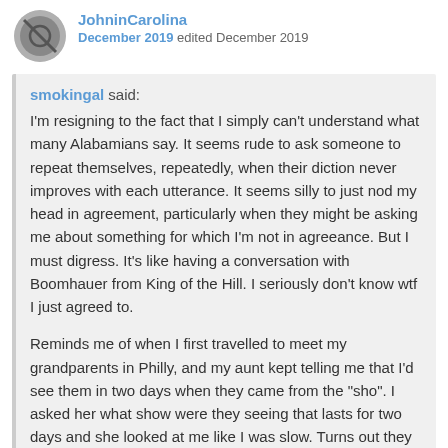JohninCarolina
December 2019 edited December 2019
smokingal said:
I'm resigning to the fact that I simply can't understand what many Alabamians say.  It seems rude to ask someone to repeat themselves, repeatedly, when their diction never improves with each utterance.  It seems silly to just nod my head in agreement, particularly when they might be asking me about something for which I'm not in agreeance.  But I must digress.  It's like having a conversation with Boomhauer from King of the Hill.  I seriously don't know wtf I just agreed to.

Reminds me of when I first travelled to meet my grandparents in Philly, and my aunt kept telling me that I'd see them in two days when they came from the "sho".  I asked her what show were they seeing that lasts for two days and she looked at me like I was slow.  Turns out they were at their vacation home in Atlantic city and were at the beach that day.  "Sho = shore".  At least I understood everything but one word.  This last conversation with my follow